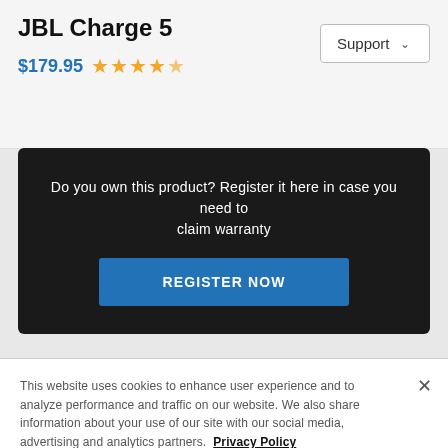JBL Charge 5
$179.95 ★★★★½
Do you own this product? Register it here in case you need to claim warranty
REGISTER NOW
This website uses cookies to enhance user experience and to analyze performance and traffic on our website. We also share information about your use of our site with our social media, advertising and analytics partners. Privacy Policy
Manage Consent Preferences
Accept Cookies